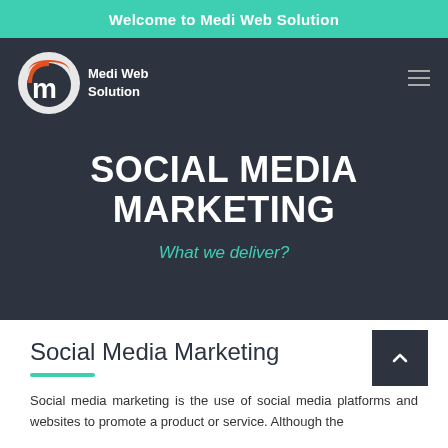Welcome to Medi Web Solution
[Figure (logo): Medi Web Solution logo — circular logo with orange and white M letter on dark background, next to text 'Medi Web Solution']
SOCIAL MEDIA MARKETING
What we deliver?
Social Media Marketing
Social media marketing is the use of social media platforms and websites to promote a product or service. Although the